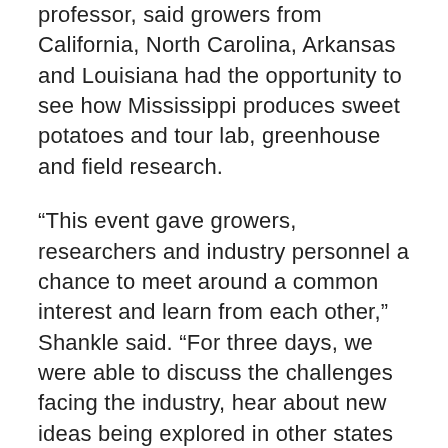professor, said growers from California, North Carolina, Arkansas and Louisiana had the opportunity to see how Mississippi produces sweet potatoes and tour lab, greenhouse and field research.
“This event gave growers, researchers and industry personnel a chance to meet around a common interest and learn from each other,” Shankle said. “For three days, we were able to discuss the challenges facing the industry, hear about new ideas being explored in other states and share data from our states’ industry.”
Mississippi consistently ranks second in the United States in sweet potato